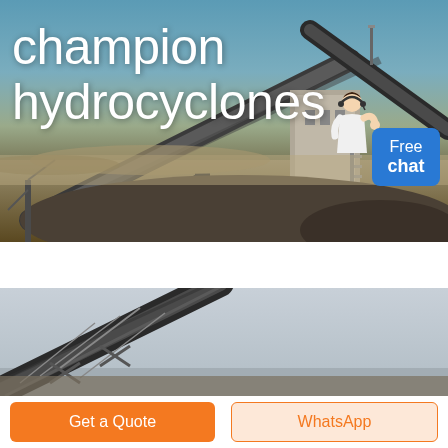[Figure (photo): Industrial mining/quarry scene showing large conveyor belt structures with aggregate/gravel piles against a blue sky background. Text overlay reads 'champion hydrocyclones'. A customer service agent figure appears on the right with a blue 'Free chat' badge.]
champion hydrocyclones
[Figure (photo): Close-up view of an industrial conveyor belt structure against a light gray/overcast sky background, showing metal framework and conveyor belt from ground level looking upward.]
Get a Quote
WhatsApp